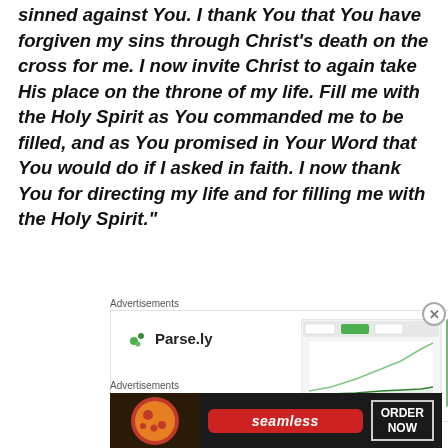sinned against You. I thank You that You have forgiven my sins through Christ's death on the cross for me. I now invite Christ to again take His place on the throne of my life. Fill me with the Holy Spirit as You commanded me to be filled, and as You promised in Your Word that You would do if I asked in faith. I now thank You for directing my life and for filling me with the Holy Spirit."
Advertisements
[Figure (screenshot): Parse.ly advertisement showing logo and a dashboard screenshot with a line chart and a woman in a green shirt]
Advertisements
[Figure (photo): Seamless food delivery advertisement showing pizza image on left, Seamless logo in red center, and 'ORDER NOW' button on right]